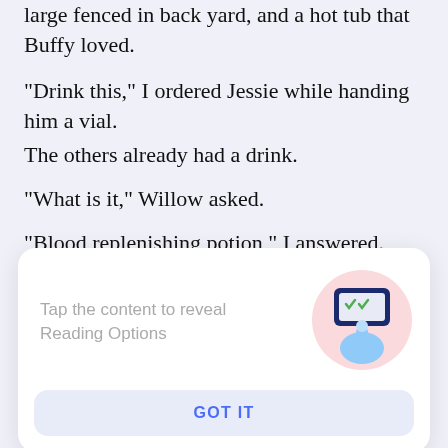large fenced in back yard, and a hot tub that Buffy loved.
"Drink this," I ordered Jessie while handing him a vial.
The others already had a drink.
"What is it," Willow asked.
"Blood replenishing potion," I answered.
I got the expected weird looks from the others at my
[Figure (screenshot): A popup card with gray text 'Tap the content to reveal Reading Options', an illustration of a hand tapping a phone screen on a pink circle background, and a blue 'GOT IT' button.]
"Of course, and that was because he was far older